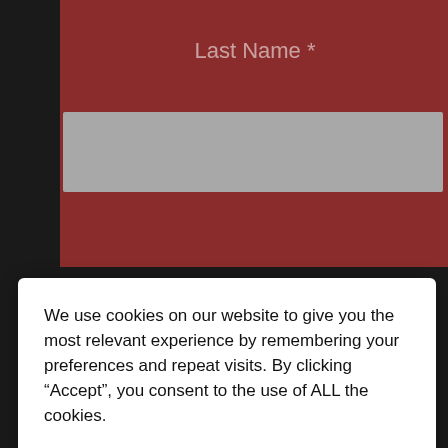[Figure (screenshot): Dark red form area with 'Last Name *' placeholder label and a gray input box below it]
We use cookies on our website to give you the most relevant experience by remembering your preferences and repeat visits. By clicking “Accept”, you consent to the use of ALL the cookies.
Do not sell my personal information.
Cookie settings
ACCEPT
[Figure (screenshot): Dropdown chevron button (v) and gray input area]
[Figure (infographic): Virginia Tire & Auto advertisement: Ashburn OPEN 7:30AM–6PM, 43781 Parkhurst Plaza, Ashburn, with logo and navigation icon]